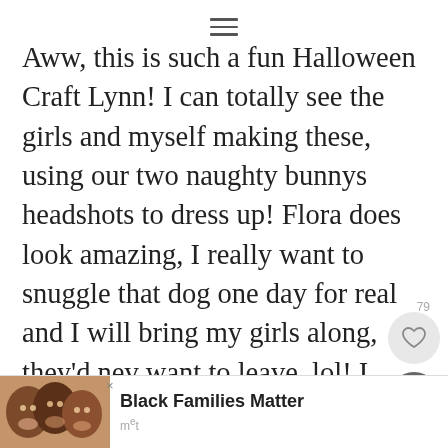≡
Aww, this is such a fun Halloween Craft Lynn! I can totally see the girls and myself making these, using our two naughty bunnys headshots to dress up! Flora does look amazing, I really want to snuggle that dog one day for real and I will bring my girls along, they'd nev want to leave, lol! I didn't know you ha a dog before her, aww, how nice that yo
[Figure (photo): Advertisement banner at the bottom showing smiling faces of Black family members with text 'Black Families Matter' and a logo]